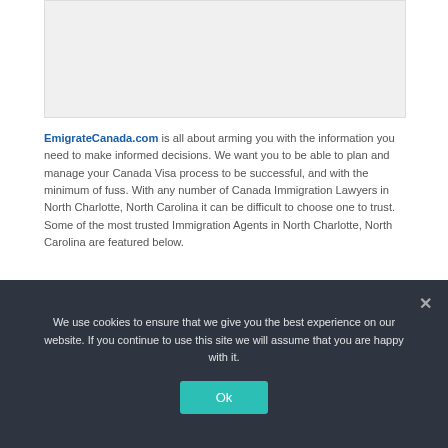[Figure (other): Gray placeholder image box at top of page]
EmigrateCanada.com is all about arming you with the information you need to make informed decisions. We want you to be able to plan and manage your Canada Visa process to be successful, and with the minimum of fuss. With any number of Canada Immigration Lawyers in North Charlotte, North Carolina it can be difficult to choose one to trust. Some of the most trusted Immigration Agents in North Charlotte, North Carolina are featured below.
| Business Name | Rating |
| --- | --- |
We use cookies to ensure that we give you the best experience on our website. If you continue to use this site we will assume that you are happy with it.